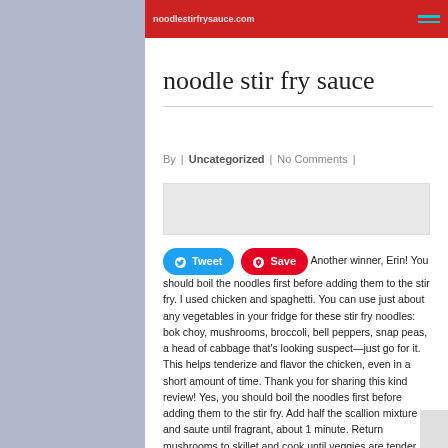noodlestirfrysauce.com | (menu icon)
noodle stir fry sauce
By  |  Uncategorized  |  No Comments  |
[Figure (other): Placeholder image area (light gray rectangle)]
Another winner, Erin! You should boil the noodles first before adding them to the stir fry. I used chicken and spaghetti. You can use just about any vegetables in your fridge for these stir fry noodles: bok choy, mushrooms, broccoli, bell peppers, snap peas, a head of cabbage that’s looking suspect—just go for it. This helps tenderize and flavor the chicken, even in a short amount of time. Thank you for sharing this kind review! Yes, you should boil the noodles first before adding them to the stir fry. Add half the scallion mixture and saute until fragrant, about 1 minute. Return mushrooms to skillet and cook until veggies are tender. Once the oil is hot, add the chicken...